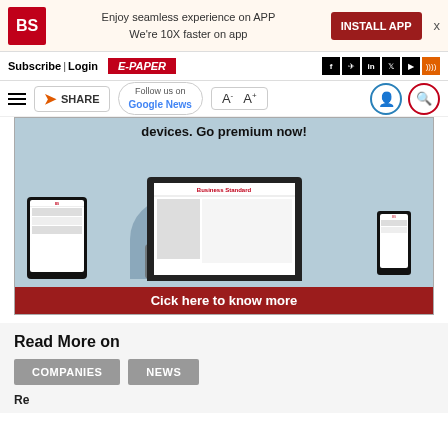Enjoy seamless experience on APP
We're 10X faster on app
INSTALL APP
Subscribe| Login  E-PAPER
SHARE  Follow us on Google News  A-  A+
[Figure (screenshot): Business Standard website shown on laptop, tablet, and smartphone devices with text 'Go premium now!' and a red banner 'Cick here to know more']
Read More on
COMPANIES
NEWS